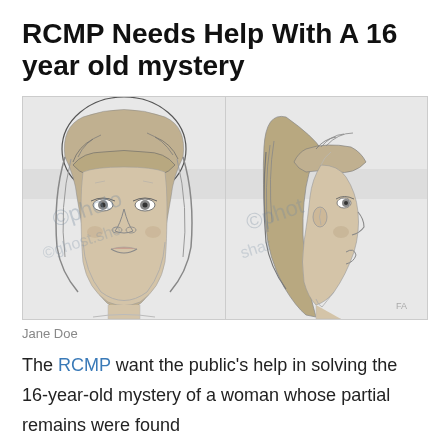RCMP Needs Help With A 16 year old mystery
[Figure (illustration): Forensic sketch showing two views of an unidentified woman (Jane Doe): front-facing portrait on the left and side profile on the right. The woman has bangs and shoulder-length hair. A watermark is visible across the image.]
Jane Doe
The RCMP want the public's help in solving the 16-year-old mystery of a woman whose partial remains were found